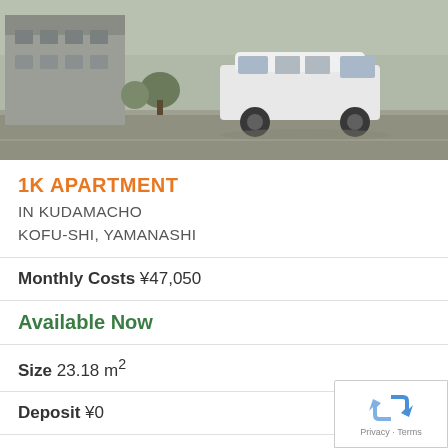[Figure (photo): Exterior photo of apartment building with a white van/minivan parked in front, street visible, overcast sky]
1K APARTMENT
IN KUDAMACHO
KOFU-SHI, YAMANASHI
Monthly Costs ¥47,050
Available Now
Size 23.18 m²
Deposit ¥0
Key Money ¥0
Floor 2 / 2F